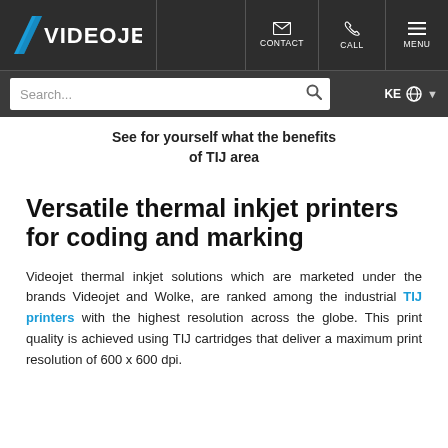[Figure (logo): Videojet logo in white text with blue angular graphic on dark nav bar, with CONTACT, CALL, MENU icons]
Search... KE
See for yourself what the benefits of TIJ area
Versatile thermal inkjet printers for coding and marking
Videojet thermal inkjet solutions which are marketed under the brands Videojet and Wolke, are ranked among the industrial TIJ printers with the highest resolution across the globe. This print quality is achieved using TIJ cartridges that deliver a maximum print resolution of 600 x 600 dpi.